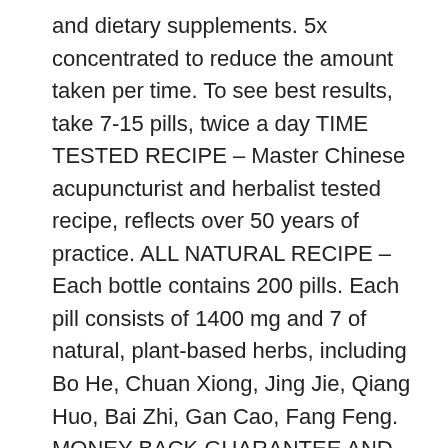and dietary supplements. 5x concentrated to reduce the amount taken per time. To see best results, take 7-15 pills, twice a day TIME TESTED RECIPE – Master Chinese acupuncturist and herbalist tested recipe, reflects over 50 years of practice. ALL NATURAL RECIPE – Each bottle contains 200 pills. Each pill consists of 1400 mg and 7 of natural, plant-based herbs, including Bo He, Chuan Xiong, Jing Jie, Qiang Huo, Bai Zhi, Gan Cao, Fang Feng. MONEY BACK GUARANTEE AND HIGH QUALITY – 90-day no questions asked money back guarantee. These herbs ensure the highest Chinese herbal quality and is manufactured in a GMP certified factor and contains no pharmaceuticals, dyes, or sugars.